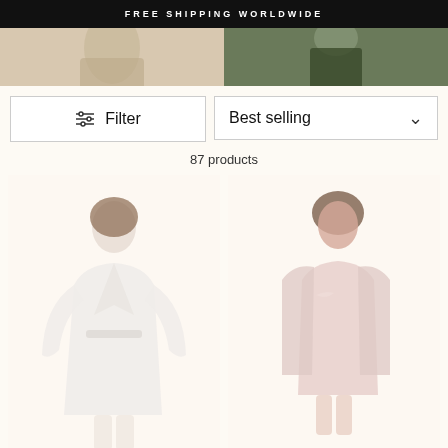FREE SHIPPING WORLDWIDE
[Figure (photo): Two cropped product lifestyle photos side by side: left shows a model in a beige/cream robe, right shows a model in a dark green skirt/outfit]
Filter
Best selling
87 products
[Figure (photo): Model wearing a white/cream belted robe, full length, soft focus on cream background]
[Figure (photo): Model wearing a pink satin slip dress and matching robe/kimono, soft focus on cream background]